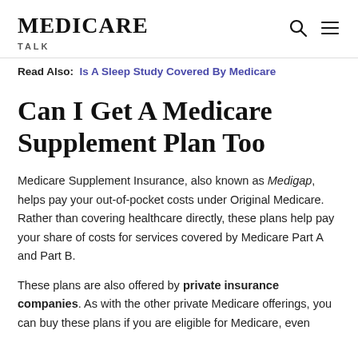MEDICARE TALK
Read Also: Is A Sleep Study Covered By Medicare
Can I Get A Medicare Supplement Plan Too
Medicare Supplement Insurance, also known as Medigap, helps pay your out-of-pocket costs under Original Medicare. Rather than covering healthcare directly, these plans help pay your share of costs for services covered by Medicare Part A and Part B.
These plans are also offered by private insurance companies. As with the other private Medicare offerings, you can buy these plans if you are eligible for Medicare, even